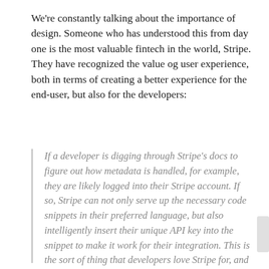We're constantly talking about the importance of design. Someone who has understood this from day one is the most valuable fintech in the world, Stripe. They have recognized the value og user experience, both in terms of creating a better experience for the end-user, but also for the developers:
If a developer is digging through Stripe's docs to figure out how metadata is handled, for example, they are likely logged into their Stripe account. If so, Stripe can not only serve up the necessary code snippets in their preferred language, but also intelligently insert their unique API key into the snippet to make it work for their integration. This is the sort of thing that developers love Stripe for, and it signals that there's a human being who thought about what they need at that moment and provided it for them.